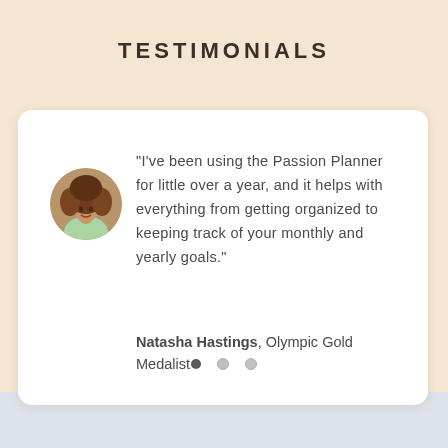TESTIMONIALS
“I’ve been using the Passion Planner for little over a year, and it helps with everything from getting organized to keeping track of your monthly and yearly goals.”

Natasha Hastings, Olympic Gold Medalist
[Figure (photo): Circular avatar photo of Natasha Hastings, a woman with voluminous curly/wavy hair wearing a light green top, photographed outdoors]